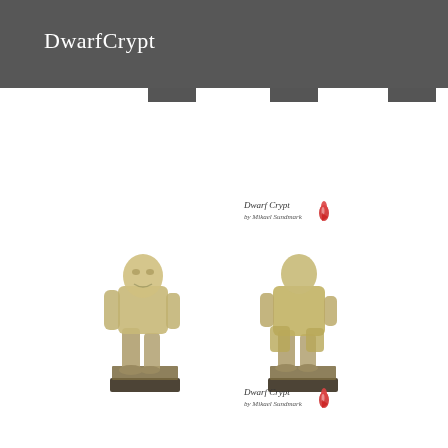DwarfCrypt
[Figure (logo): DwarfCrypt by Mikael Sundmark logo with flame icon, small watermark in center of page]
[Figure (photo): Two painted miniature figurines of dwarf-like undead/zombie characters shown front and back view, standing on textured bases]
[Figure (logo): DwarfCrypt by Mikael Sundmark logo with flame icon, small watermark at bottom of page]